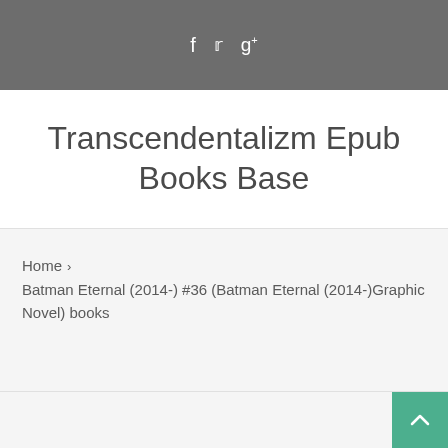f  ✓  g+
Transcendentalizm Epub Books Base
Home › Batman Eternal (2014-) #36 (Batman Eternal (2014-)Graphic Novel) books